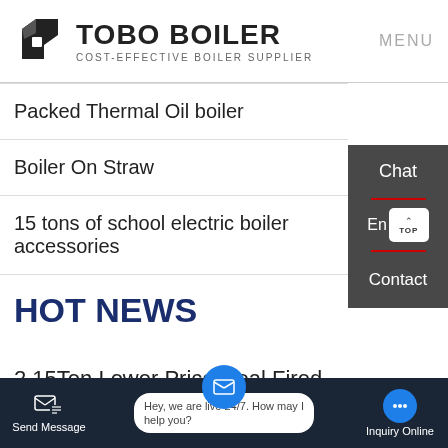TOBO BOILER — COST-EFFECTIVE BOILER SUPPLIER — MENU
Packed Thermal Oil boiler
Boiler On Straw
15 tons of school electric boiler accessories
HOT NEWS
2 15Ton Lower Price Coal Fired Steam Boiler
Send Message | Hey, we are live 24/7. How may I help you? | Inquiry Online